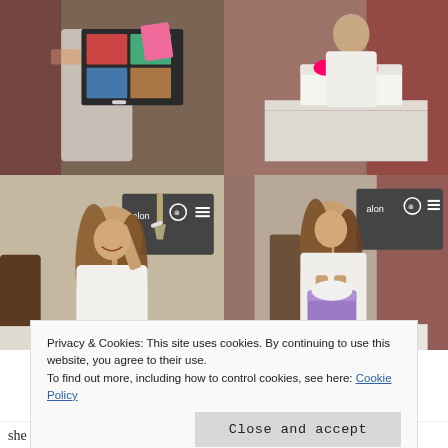[Figure (photo): Top-left: A woman in white dress holding a photo collage/scrapbook with colorful sticky notes at an indoor event.]
[Figure (photo): Top-right: A woman in white dress/top standing behind a table with a decorated box (pink, green, white) at an indoor event with dark red drapes.]
[Figure (photo): Bottom-left: A young woman with long wavy hair in a white lace dress, smiling and holding up a champagne flute, seated at a table. A 'Salon' branded backdrop is visible behind her.]
[Figure (photo): Bottom-right: A young woman in white lace dress looking down while opening a gift bag (purple/pink) at a table. Same 'Salon' branded backdrop visible behind her.]
Privacy & Cookies: This site uses cookies. By continuing to use this website, you agree to their use.
To find out more, including how to control cookies, see here: Cookie Policy
Close and accept
she incorporated so many details from the show. She